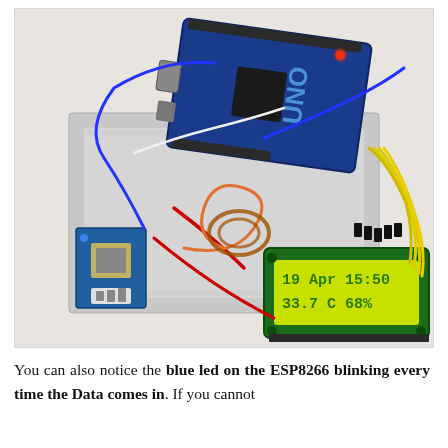[Figure (photo): Arduino UNO microcontroller connected to a breadboard with various wires (blue, red, orange, yellow), an ESP8266 WiFi module, and a 16x2 LCD display showing '19 Apr 15:50' and '33.7 C   68%'. The setup is a temperature and humidity monitoring station.]
You can also notice the blue led on the ESP8266 blinking every time the Data comes in. If you cannot